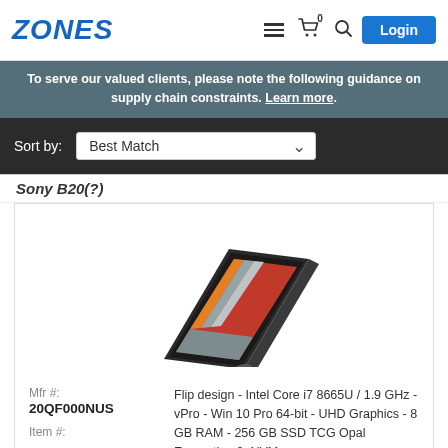ZONES — navigation header with logo, menu, cart (0), search, and Login button
To serve our valued clients, please note the following guidance on supply chain constraints. Learn more.
Sort by: Best Match
Sony B20(?)
[Figure (photo): Lenovo ThinkPad X1 Yoga laptop in tent mode, showing a website on screen, dark gray color]
Mfr #:
20QF000NUS
Item #:
[partially visible]
Flip design - Intel Core i7 8665U / 1.9 GHz - vPro - Win 10 Pro 64-bit - UHD Graphics - 8 GB RAM - 256 GB SSD TCG Opal Encryption 2, NVMe -